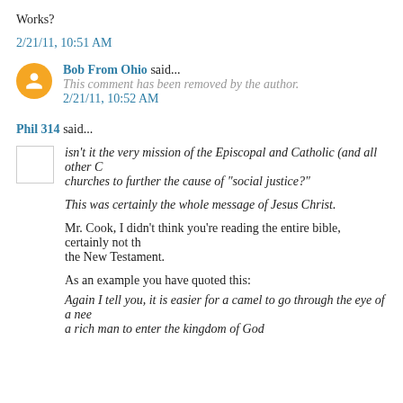Works?
2/21/11, 10:51 AM
Bob From Ohio said...
This comment has been removed by the author.
2/21/11, 10:52 AM
Phil 314 said...
isn't it the very mission of the Episcopal and Catholic (and all other C... churches to further the cause of "social justice?"
This was certainly the whole message of Jesus Christ.
Mr. Cook, I didn't think you're reading the entire bible, certainly not th... the New Testament.
As an example you have quoted this:
Again I tell you, it is easier for a camel to go through the eye of a nee... a rich man to enter the kingdom of God